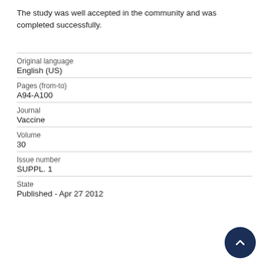The study was well accepted in the community and was completed successfully.
| Original language | English (US) |
| Pages (from-to) | A94-A100 |
| Journal | Vaccine |
| Volume | 30 |
| Issue number | SUPPL. 1 |
| State | Published - Apr 27 2012 |